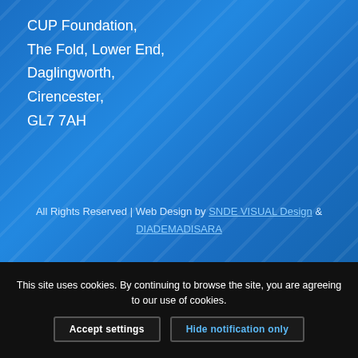CUP Foundation,
The Fold, Lower End,
Daglingworth,
Cirencester,
GL7 7AH
All Rights Reserved | Web Design by SNDE VISUAL Design & DIADEMADISARA
This site uses cookies. By continuing to browse the site, you are agreeing to our use of cookies.
Accept settings
Hide notification only